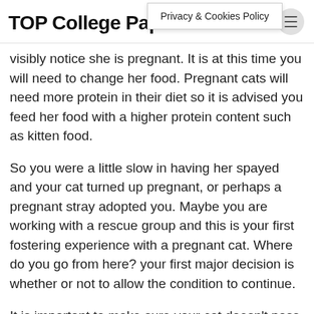TOP College Papers
Privacy & Cookies Policy
visibly notice she is pregnant. It is at this time you will need to change her food. Pregnant cats will need more protein in their diet so it is advised you feed her food with a higher protein content such as kitten food.
So you were a little slow in having her spayed and your cat turned up pregnant, or perhaps a pregnant stray adopted you. Maybe you are working with a rescue group and this is your first fostering experience with a pregnant cat. Where do you go from here? your first major decision is whether or not to allow the condition to continue.
It is important to make sure your cat doesn't pass on worms to her kittens via her milk. If she has been